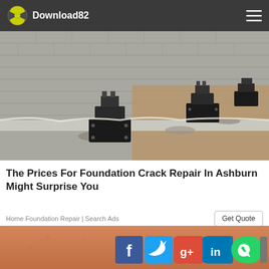Download82
[Figure (photo): Construction photo showing foundation repair equipment (black metal supports/anchors) installed against a concrete block wall with excavated earth visible]
The Prices For Foundation Crack Repair In Ashburn Might Surprise You
Home Foundation Repair | Search Ads
[Figure (photo): Close-up of orange/tan skin texture, partially visible, with social media sharing icons (Facebook, Twitter, Google+, LinkedIn, WhatsApp, Email) overlaid at the bottom]